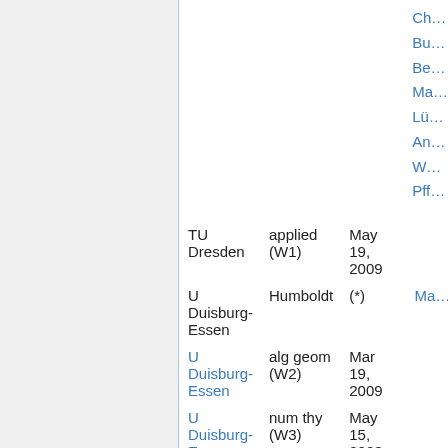| Institution | Field/Level | Date | Link |
| --- | --- | --- | --- |
| TU Dresden | applied (W1) | May 19, 2009 |  |
| U Duisburg-Essen | Humboldt | (*) | Ma… |
| U Duisburg-Essen [link] | alg geom (W2) | Mar 19, 2009 |  |
| U Duisburg-Essen [link] [icon] | num thy (W3) | May 15, 2008 |  |
| U Duisburg-Essen | stoch (W3) (Davies) | expired | of… |
| U Duisburg-Essen | stoch (W3) (Rogge) | expired | of… |
| U Duisburg-Essen | nonlin anal (W2…) | expired | Pa… |